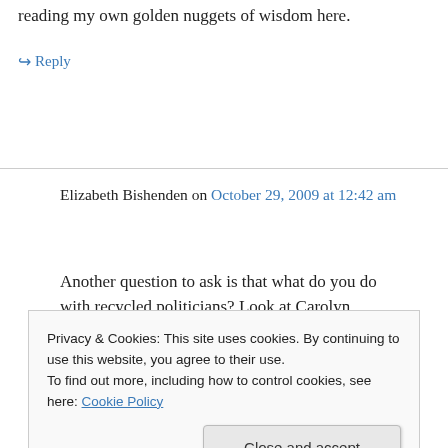reading my own golden nuggets of wisdom here.
↳ Reply
Elizabeth Bishenden on October 29, 2009 at 12:42 am
Another question to ask is that what do you do with recycled politicians? Look at Carolyn
Privacy & Cookies: This site uses cookies. By continuing to use this website, you agree to their use.
To find out more, including how to control cookies, see here: Cookie Policy
Close and accept